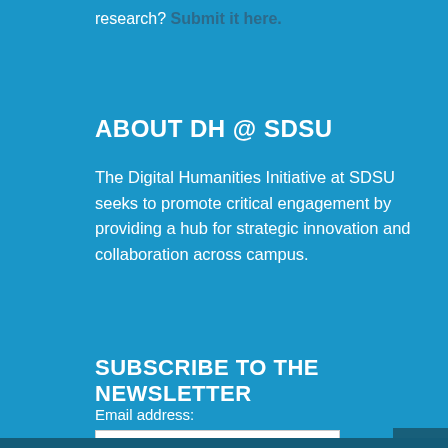research? Submit it here.
ABOUT DH @ SDSU
The Digital Humanities Initiative at SDSU seeks to promote critical engagement by providing a hub for strategic innovation and collaboration across campus.
SUBSCRIBE TO THE NEWSLETTER
Email address:
Your email address
Sign up